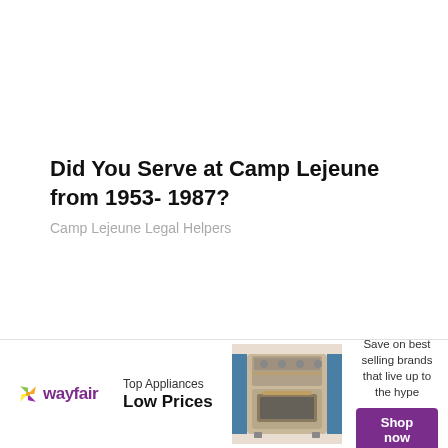Did You Serve at Camp Lejeune from 1953- 1987?
Camp Lejeune Legal Helpers
[Figure (infographic): Wayfair advertisement banner. Shows Wayfair logo with colorful star icon, text 'Top Appliances Low Prices', image of a stove/range appliance, text 'Save on best selling brands that live up to the hype', and a purple 'Shop now' button.]